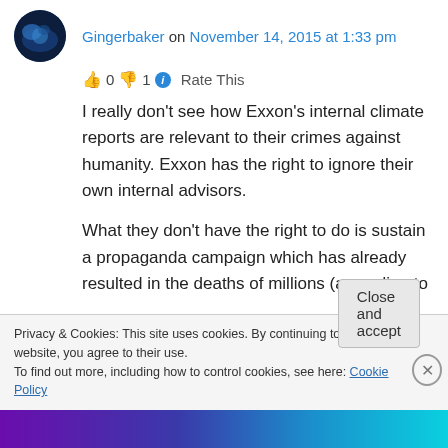Gingerbaker on November 14, 2015 at 1:33 pm
👍 0 👎 1 ℹ Rate This
I really don't see how Exxon's internal climate reports are relevant to their crimes against humanity. Exxon has the right to ignore their own internal advisors.
What they don't have the right to do is sustain a propaganda campaign which has already resulted in the deaths of millions (according to
Privacy & Cookies: This site uses cookies. By continuing to use this website, you agree to their use.
To find out more, including how to control cookies, see here: Cookie Policy
Close and accept